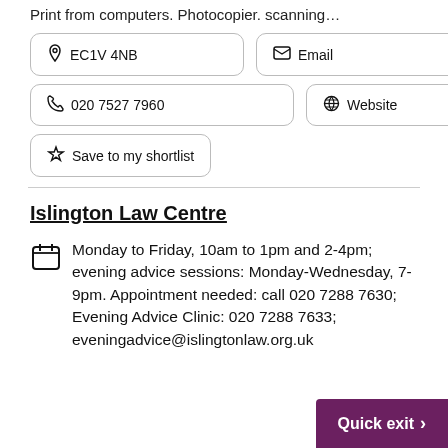Print from computers. Photocopier. scanning...
EC1V 4NB
Email
020 7527 7960
Website
Save to my shortlist
Islington Law Centre
Monday to Friday, 10am to 1pm and 2-4pm; evening advice sessions: Monday-Wednesday, 7-9pm. Appointment needed: call 020 7288 7630; Evening Advice Clinic: 020 7288 7633; eveningadvice@islingtonlaw.org.uk